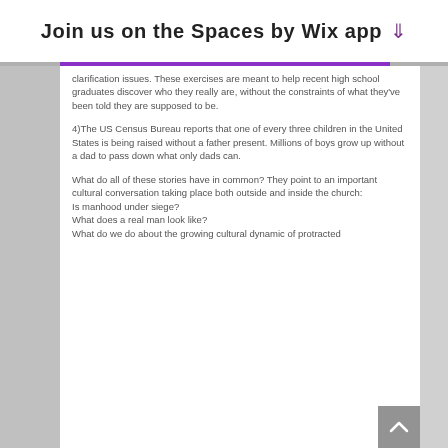Join us on the Spaces by Wix app
clarification issues. These exercises are meant to help recent high school graduates discover who they really are, without the constraints of what they've been told they are supposed to be.
4)The US Census Bureau reports that one of every three children in the United States is being raised without a father present. Millions of boys grow up without a dad to pass down what only dads can.
What do all of these stories have in common? They point to an important cultural conversation taking place both outside and inside the church:
Is manhood under siege?
What does a real man look like?
What do we do about the growing cultural dynamic of protracted